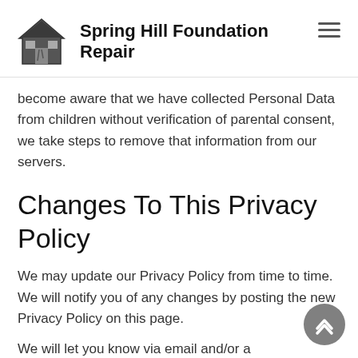Spring Hill Foundation Repair
become aware that we have collected Personal Data from children without verification of parental consent, we take steps to remove that information from our servers.
Changes To This Privacy Policy
We may update our Privacy Policy from time to time. We will notify you of any changes by posting the new Privacy Policy on this page.
We will let you know via email and/or a